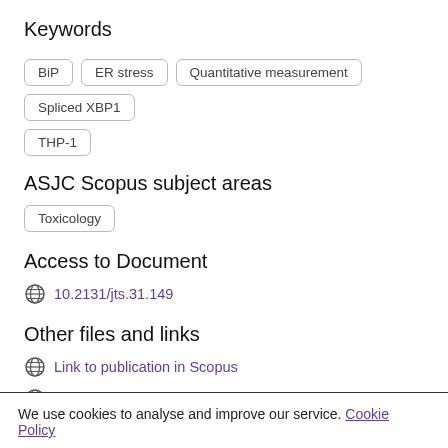Keywords
BiP
ER stress
Quantitative measurement
Spliced XBP1
THP-1
ASJC Scopus subject areas
Toxicology
Access to Document
10.2131/jts.31.149
Other files and links
Link to publication in Scopus
Link to the citations in Scopus
We use cookies to analyse and improve our service. Cookie Policy